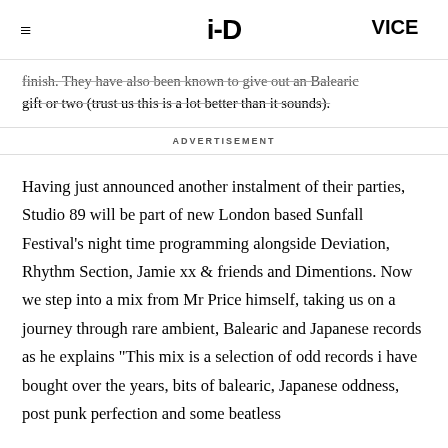i-D | VICE
finish. They have also been known to give out an Balearic gift or two (trust us this is a lot better than it sounds).
ADVERTISEMENT
Having just announced another instalment of their parties, Studio 89 will be part of new London based Sunfall Festival's night time programming alongside Deviation, Rhythm Section, Jamie xx & friends and Dimentions. Now we step into a mix from Mr Price himself, taking us on a journey through rare ambient, Balearic and Japanese records as he explains "This mix is a selection of odd records i have bought over the years, bits of balearic, Japanese oddness, post punk perfection and some beatless